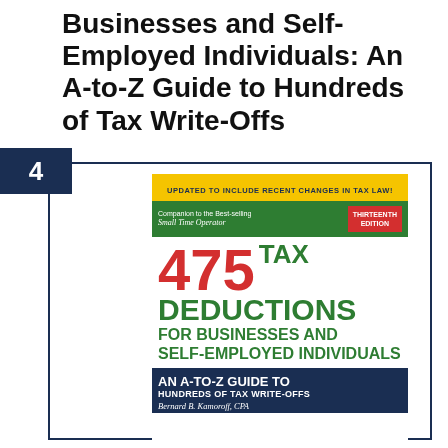Businesses and Self-Employed Individuals: An A-to-Z Guide to Hundreds of Tax Write-Offs
[Figure (illustration): Book cover for '475 Tax Deductions for Businesses and Self-Employed Individuals: An A-to-Z Guide to Hundreds of Tax Write-Offs' by Bernard B. Kamoroff, CPA. Thirteenth Edition. Features yellow banner stating 'Updated to Include Recent Changes in Tax Law!', green banner with 'Companion to the Best-selling Small Time Operator' and red 'Thirteenth Edition' badge. Large red '475' and green 'TAX DEDUCTIONS FOR BUSINESSES AND SELF-EMPLOYED INDIVIDUALS' text. Dark navy bottom section with 'An A-to-Z Guide to Hundreds of Tax Write-Offs'.]